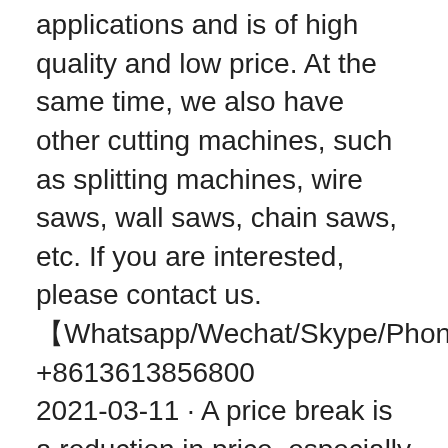applications and is of high quality and low price. At the same time, we also have other cutting machines, such as splitting machines, wire saws, wall saws, chain saws, etc. If you are interested, please contact us.
【Whatsapp/Wechat/Skype/Phone】+8613613856800
2021-03-11 · A price break is a reduction in price, especially for bulk purchase. Long lines are offputting to customers and even a price break is often not enough to convince them to waste that much time. I tend to examine their clearance racks carefully, and ask if I can get a price break if I buy all the fabric left on the roll.
Essity professional hygiene
Menu & Reservations Make Reservations . Order Online Tickets Manufactures of cleaning detergents